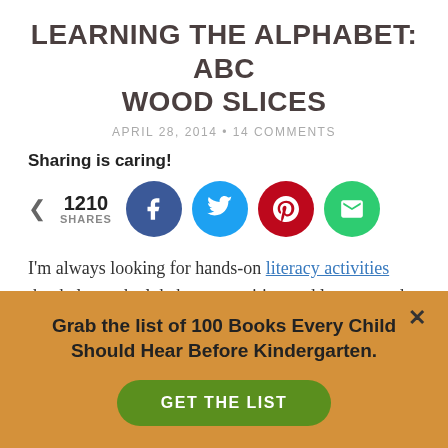LEARNING THE ALPHABET: ABC WOOD SLICES
APRIL 28, 2014 • 14 COMMENTS
Sharing is caring!
[Figure (infographic): Share count showing 1210 SHARES with social media circle buttons: Facebook (blue), Twitter (light blue), Pinterest (red), Email (green)]
I'm always looking for hands-on literacy activities that help teach alphabet recognition and letter sounds. With a toddler and preschooler in the house, we have been busy
Grab the list of 100 Books Every Child Should Hear Before Kindergarten.
GET THE LIST